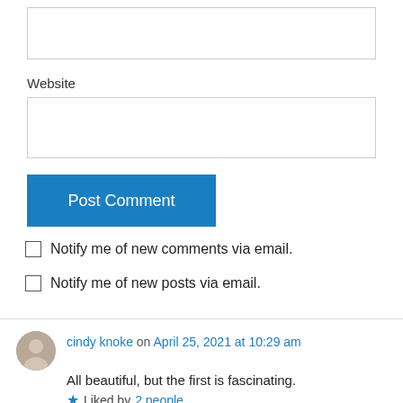[Figure (other): Empty text input box at the top of the form]
Website
[Figure (other): Website text input box]
[Figure (other): Post Comment button (blue background, white text)]
Notify me of new comments via email.
Notify me of new posts via email.
cindy knoke on April 25, 2021 at 10:29 am
All beautiful, but the first is fascinating.
Liked by 2 people